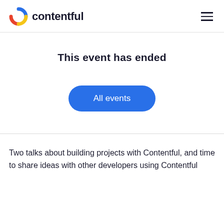[Figure (logo): Contentful logo with colorful C icon and bold text 'contentful']
This event has ended
[Figure (other): Blue rounded button labeled 'All events']
Two talks about building projects with Contentful, and time to share ideas with other developers using Contentful